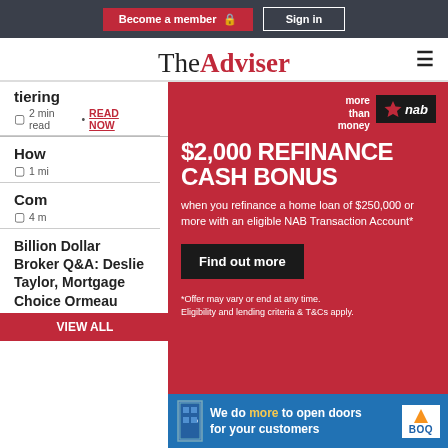Become a member  Sign in
TheAdviser
tiering
2 min read • READ NOW
How
1 min read
Com
4 min read
[Figure (infographic): NAB advertisement: $2,000 Refinance Cash Bonus when you refinance a home loan of $250,000 or more with an eligible NAB Transaction Account*. Find out more button. Disclaimer: *Offer may vary or end at any time. Eligibility and lending criteria & T&Cs apply.]
Billion Dollar Broker Q&A: Deslie Taylor, Mortgage Choice Ormeau
5 min read • READ NOW
[Figure (infographic): BOQ advertisement: We do more to open doors for your customers]
VIEW ALL